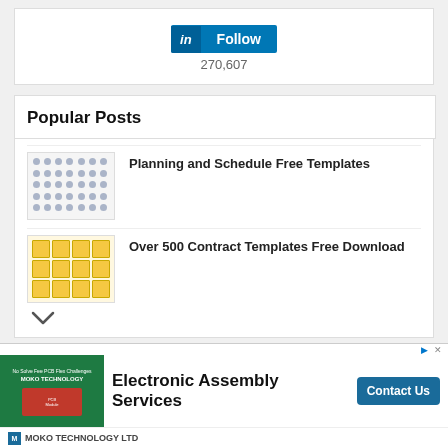[Figure (screenshot): LinkedIn Follow button widget showing 270,607 followers]
Popular Posts
[Figure (screenshot): Thumbnail image of planning and schedule templates grid]
Planning and Schedule Free Templates
[Figure (screenshot): Thumbnail image of contract templates files]
Over 500 Contract Templates Free Download
[Figure (screenshot): Advertisement banner for MOKO TECHNOLOGY LTD Electronic Assembly Services with Contact Us button]